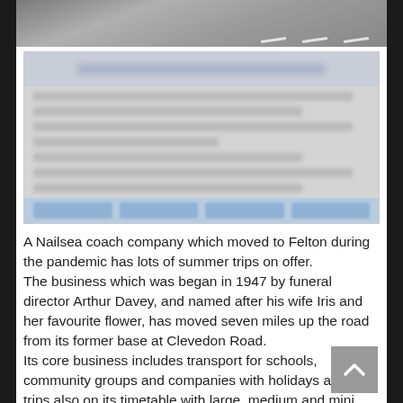[Figure (photo): Partial view of a road/coach photograph, cropped at top of page]
[Figure (screenshot): Blurred/redacted social media card with header text, body rows, and action buttons]
A Nailsea coach company which moved to Felton during the pandemic has lots of summer trips on offer.
The business which was began in 1947 by funeral director Arthur Davey, and named after his wife Iris and her favourite flower, has moved seven miles up the road from its former base at Clevedon Road.
Its core business includes transport for schools, community groups and companies with holidays and day trips also on its timetable with large, medium and mini coaches available.
Blue Iris Coaches which employs between 10-12 employees and runs 12 vehicles is open for business but sadly not in Nailsea its ancestral home.